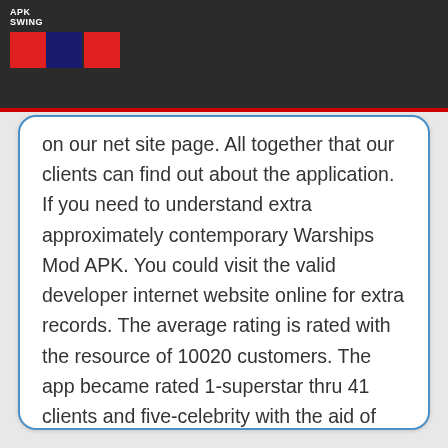APK SWING
on our net site page. All together that our clients can find out about the application. If you need to understand extra approximately contemporary Warships Mod APK. You could visit the valid developer internet website online for extra records. The average rating is rated with the resource of 10020 customers. The app became rated 1-superstar thru 41 clients and five-celebrity with the aid of 6551 customers. The application has been downloaded somewhere around 25634 occasions, however, the number of downloads can accomplish.